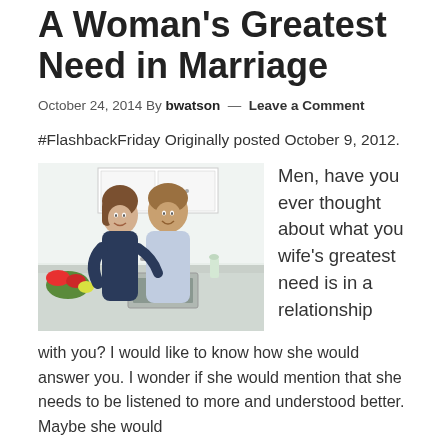A Woman's Greatest Need in Marriage
October 24, 2014 By bwatson — Leave a Comment
#FlashbackFriday Originally posted October 9, 2012.
[Figure (photo): A smiling couple embracing in a bright kitchen. A woman hugs a man from behind while he smiles.]
Men, have you ever thought about what you wife's greatest need is in a relationship with you? I would like to know how she would answer you. I wonder if she would mention that she needs to be listened to more and understood better. Maybe she would